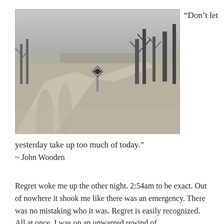[Figure (photo): Black and white photograph of a rural dirt road forking into two paths, with bare trees on the right side and open fields in the background. A road sign is visible at the fork.]
“Don’t let yesterday take up too much of today.”
~ John Wooden
Regret woke me up the other night. 2:54am to be exact. Out of nowhere it shook me like there was an emergency. There was no mistaking who it was. Regret is easily recognized. All at once, I was on an unwanted rewind of